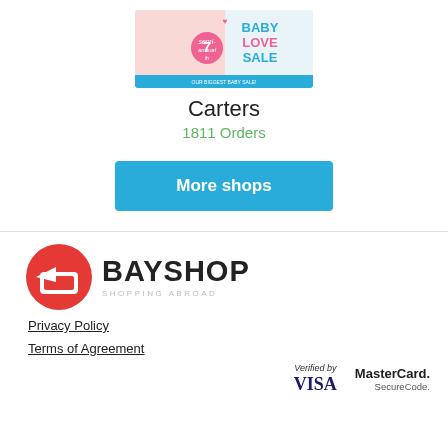[Figure (screenshot): Carters store banner showing a baby in pink outfit with text semi-annual Baby Love Sale, 7th]
Carters
1811 Orders
More shops
[Figure (logo): Bayshop logo: red icon of a shopping basket with a plane, text BAYSHOP and SHOPPING ABROAD]
Privacy Policy
Terms of Agreement
[Figure (logo): Verified by VISA badge]
[Figure (logo): MasterCard SecureCode badge]